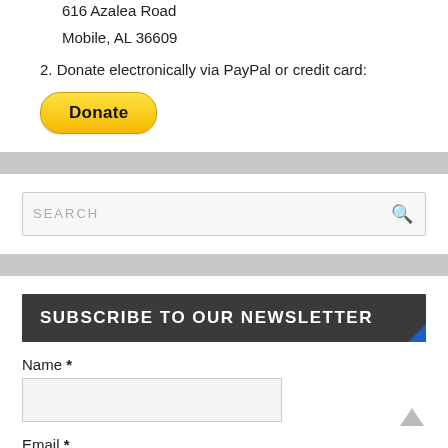616 Azalea Road
Mobile, AL 36609
2. Donate electronically via PayPal or credit card:
[Figure (other): PayPal Donate button, yellow rounded rectangle with bold text 'Donate']
[Figure (other): Search bar with placeholder text SEARCH and magnifying glass icon]
SUBSCRIBE TO OUR NEWSLETTER
Name *
Email *
Select list(s):